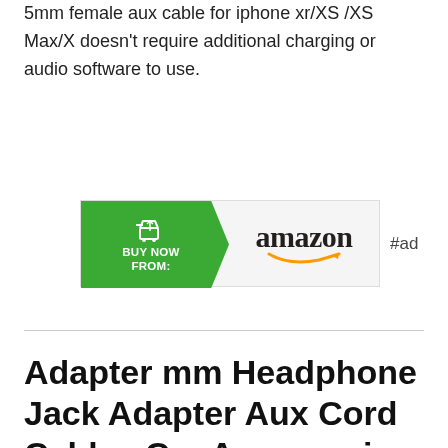5mm female aux cable for iphone xr/XS /XS Max/X doesn't require additional charging or audio software to use.
[Figure (other): Amazon 'Buy Now From' advertisement banner with green arrow shape containing shopping cart icon and 'BUY NOW FROM:' text, followed by Amazon logo with orange smile, and '#ad' label to the right.]
Adapter mm Headphone Jack Adapter Aux Cord Cables Car Accessories Dongle for iPhone to Music